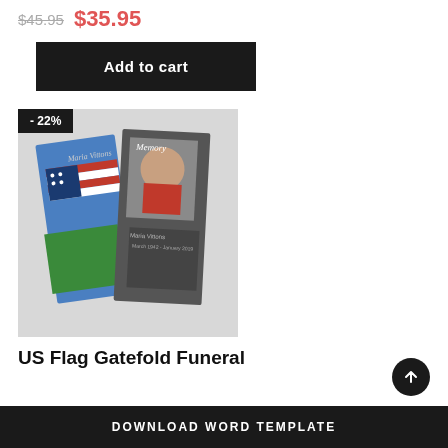$45.95  $35.95
Add to cart
[Figure (photo): Product image of US Flag Gatefold Funeral Program booklet with a -22% discount badge. Shows two booklet panels: left with US flag imagery and right with a photo of an elderly woman.]
US Flag Gatefold Funeral
DOWNLOAD WORD TEMPLATE